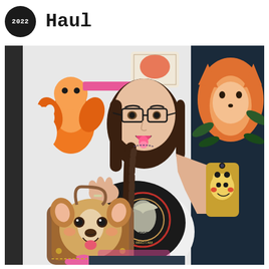Haul
[Figure (photo): A young woman with dark hair in a braid and glasses takes a mirror selfie holding a corgi-themed mini backpack. She is wearing a black graphic tee and smiling with tongue out. In the background are plushies and artwork including a fox illustration. She holds a gold Pikachu phone case.]